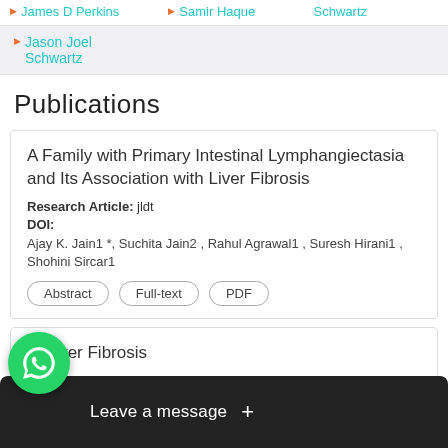James D Perkins  ▶ Samir Haque  Schwartz
▶ Jason Joel Schwartz
Publications
A Family with Primary Intestinal Lymphangiectasia and Its Association with Liver Fibrosis
Research Article: jldt
DOI:
Ajay K. Jain1 *, Suchita Jain2 , Rahul Agrawal1 , Suresh Hirani1 , Shohini Sircar1
Abstract  Full-text  PDF
of Liver Fibrosis
DOI:
Laks
[Figure (screenshot): WhatsApp 'Leave a message' overlay with green WhatsApp icon and dark bar at bottom of page]